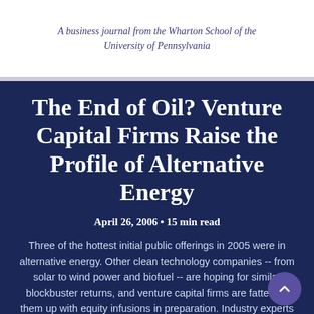A business journal from the Wharton School of the University of Pennsylvania
The End of Oil? Venture Capital Firms Raise the Profile of Alternative Energy
April 26, 2006 • 15 min read
Three of the hottest initial public offerings in 2005 were in alternative energy. Other clean technology companies -- from solar to wind power and biofuel -- are hoping for similar blockbuster returns, and venture capital firms are fattening them up with equity infusions in preparation. Industry experts weigh in on whether or not the sector will live up to its promise.